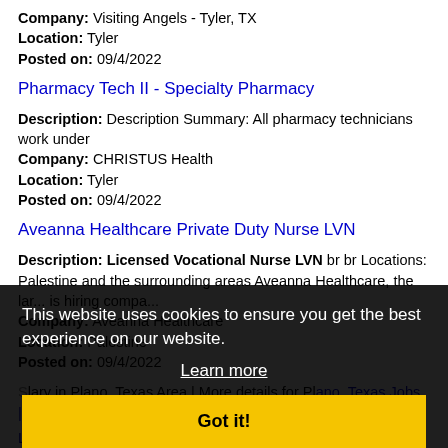Company: Visiting Angels - Tyler, TX
Location: Tyler
Posted on: 09/4/2022
Pharmacy Tech II - Specialty Pharmacy
Description: Description Summary: All pharmacy technicians work under
Company: CHRISTUS Health
Location: Tyler
Posted on: 09/4/2022
Aveanna Healthcare Private Duty Nurse LVN
Description: Licensed Vocational Nurse LVN br br Locations: Palestine and the surrounding areas Aveanna Healthcare, the lar... is hiring compa...
Company: Aveanna Healthcare
Location: Palestine
Posted on: 09/4/2022
S lary in Plano, Texas Area | More details for Plano, Texas Jobs |Salary
LPN : Make your own schedule and get paid next day! Up...
This website uses cookies to ensure you get the best experience on our website.
Learn more
Got it!